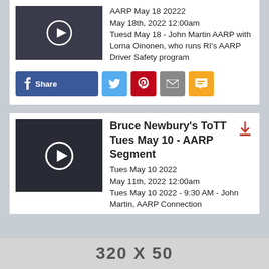[Figure (screenshot): Video thumbnail with play button for AARP May 18 2022 segment]
AARP May 18 20222
May 18th, 2022 12:00am
Tuesd May 18 - John Martin AARP with Lorna Oinonen, who runs RI's AARP Driver Safety program
[Figure (infographic): Social share buttons: Facebook Share, Twitter, Pinterest, Email, SMS]
[Figure (screenshot): Video thumbnail with play button for Bruce Newbury's ToTT Tues May 10 AARP Segment]
Bruce Newbury's ToTT Tues May 10 - AARP Segment
Tues May 10 2022
May 11th, 2022 12:00am
Tues May 10 2022 - 9:30 AM - John Martin, AARP Connection
[Figure (infographic): Ad banner: 320 X 50]